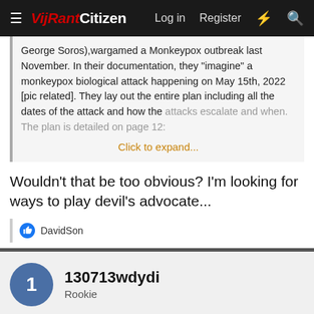VijRant Citizen — Log in   Register
George Soros),wargamed a Monkeypox outbreak last November. In their documentation, they "imagine" a monkeypox biological attack happening on May 15th, 2022 [pic related]. They lay out the entire plan including all the dates of the attack and how the attacks escalate and when. The plan is detailed on page 12: Click to expand...
Wouldn't that be too obvious? I'm looking for ways to play devil's advocate...
DavidSon
130713wdydi
Rookie
May 21, 2022
#26